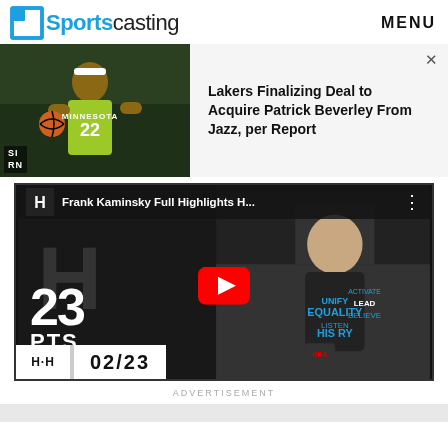[Figure (logo): Sportscasting logo with blue bracket icon and blue/black wordmark]
MENU
[Figure (photo): Patrick Beverley in Minnesota Timberwolves jersey #22 dribbling basketball]
Lakers Finalizing Deal to Acquire Patrick Beverley From Jazz, per Report
[Figure (screenshot): YouTube video thumbnail for Frank Kaminsky Full Highlights showing 23 PTS and score 02/23]
ADVERTISEMENT